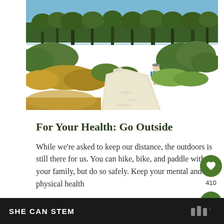[Figure (photo): A person hiking along a sandy white trail through Florida scrubland and pine trees on a sunny day. The hiker is wearing a blue and yellow shirt with khaki pants, walking away from camera into lush green and dry golden grasses.]
For Your Health: Go Outside
While we're asked to keep our distance, the outdoors is still there for us. You can hike, bike, and paddle with your family, but do so safely. Keep your mental and physical health...
SHE CAN STEM